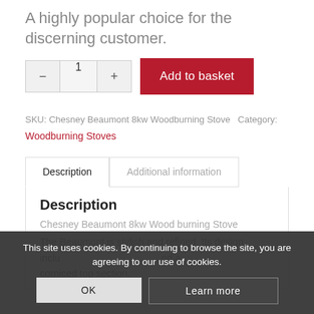A highly popular choice for the discerning customer.
1 Add to basket
SKU: Chesney Beaumont 8kw Woodburning Stove Category:
Woodburning Stoves
Description
Additional information
Description
Chesney Beaumont 8kw Wood burning Stove
The Beaumont is stylish and refined. Its design includes stovax doors and a corniced top section.
This site uses cookies. By continuing to browse the site, you are agreeing to our use of cookies.
OK
Learn more